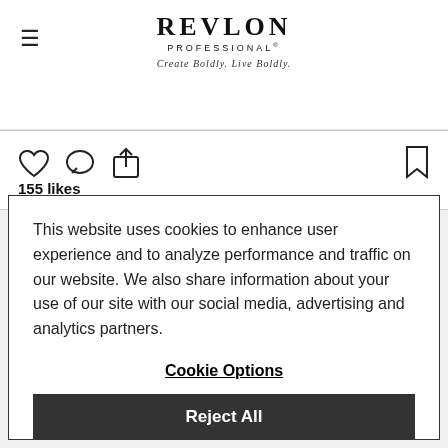[Figure (logo): Revlon Professional logo with tagline 'Create Boldly. Live Boldly.']
[Figure (screenshot): Instagram-style action icons (heart, comment, share, bookmark) with 155 likes count]
This website uses cookies to enhance user experience and to analyze performance and traffic on our website. We also share information about your use of our site with our social media, advertising and analytics partners.
Cookie Options
Reject All
Accept All